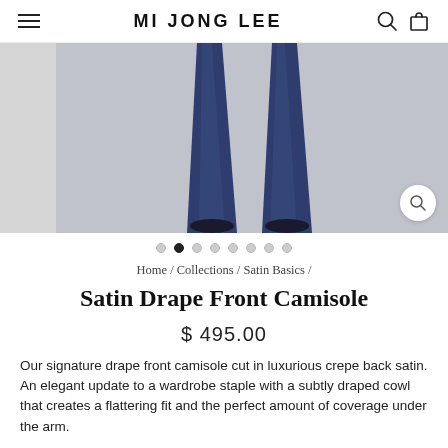MI JONG LEE
[Figure (photo): Navy satin wide-leg trousers on a model, shown from waist to floor against a light grey background. A small grey thumbnail panel appears to the left. A zoom/magnify button is visible in the lower right corner of the main image.]
Home / Collections / Satin Basics /
Satin Drape Front Camisole
$ 495.00
Our signature drape front camisole cut in luxurious crepe back satin. An elegant update to a wardrobe staple with a subtly draped cowl that creates a flattering fit and the perfect amount of coverage under the arm.